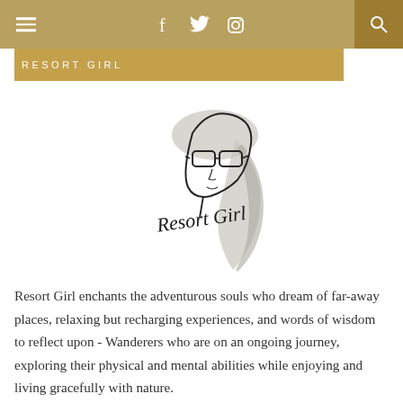RESORT GIRL
[Figure (illustration): Line drawing illustration of a stylish woman wearing sunglasses with flowing hair, with cursive text 'Resort Girl' overlaid]
Resort Girl enchants the adventurous souls who dream of far-away places, relaxing but recharging experiences, and words of wisdom to reflect upon - Wanderers who are on an ongoing journey, exploring their physical and mental abilities while enjoying and living gracefully with nature.